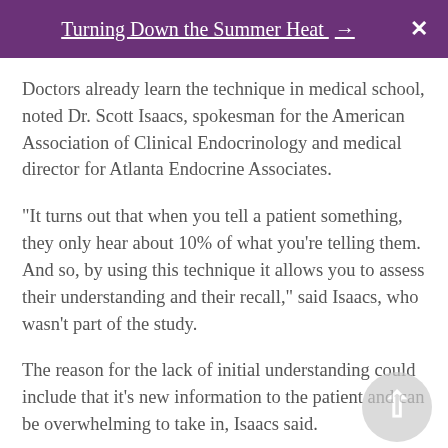Turning Down the Summer Heat → ✕
Doctors already learn the technique in medical school, noted Dr. Scott Isaacs, spokesman for the American Association of Clinical Endocrinology and medical director for Atlanta Endocrine Associates.
"It turns out that when you tell a patient something, they only hear about 10% of what you're telling them. And so, by using this technique it allows you to assess their understanding and their recall," said Isaacs, who wasn't part of the study.
The reason for the lack of initial understanding could include that it's new information to the patient and can be overwhelming to take in, Isaacs said.
The study analyzed data on more than 2,900 adults with diabetes. At the one year follow up, patients